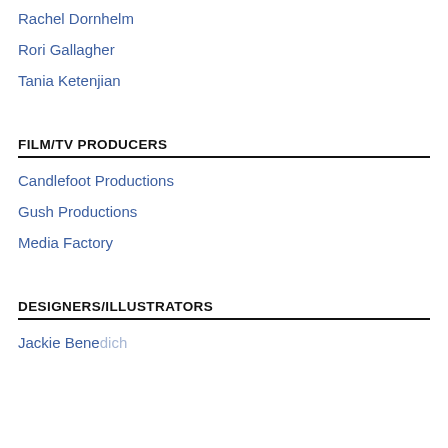Rachel Dornhelm
Rori Gallagher
Tania Ketenjian
FILM/TV PRODUCERS
Candlefoot Productions
Gush Productions
Media Factory
DESIGNERS/ILLUSTRATORS
Jackie Benedick